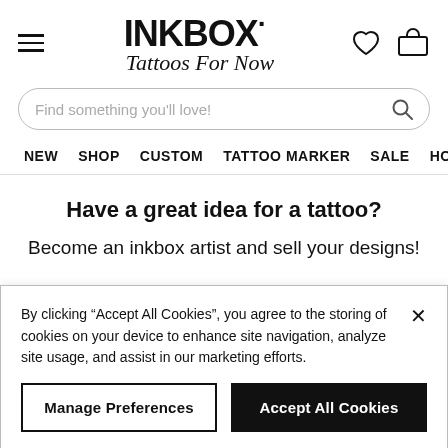[Figure (logo): Inkbox logo with 'INKBOX·' in bold black and 'Tattoos For Now' in script below, hamburger menu icon on left, heart and cart icons on right]
[Figure (screenshot): Search bar with placeholder text 'Find something you'll love!' and search icon on right]
NEW  SHOP  CUSTOM  TATTOO MARKER  SALE  HOW
Have a great idea for a tattoo?
Become an inkbox artist and sell your designs!
By clicking "Accept All Cookies", you agree to the storing of cookies on your device to enhance site navigation, analyze site usage, and assist in our marketing efforts.
Manage Preferences  |  Accept All Cookies